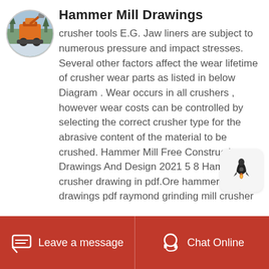[Figure (photo): Circular avatar photo showing a construction/mining machine (orange crusher) outdoors in a wooded area with snow]
Hammer Mill Drawings
crusher tools E.G. Jaw liners are subject to numerous pressure and impact stresses. Several other factors affect the wear lifetime of crusher wear parts as listed in below Diagram . Wear occurs in all crushers , however wear costs can be controlled by selecting the correct crusher type for the abrasive content of the material to be crushed. Hammer Mill Free Construction Drawings And Design 2021 5 8 Hammer crusher drawing in pdf.Ore hammer mill free drawings pdf raymond grinding mill crusher
[Figure (illustration): Rocket icon button (notification bell/push notification rocket symbol) in a rounded rectangle button on the right side]
Leave a message   Chat Online